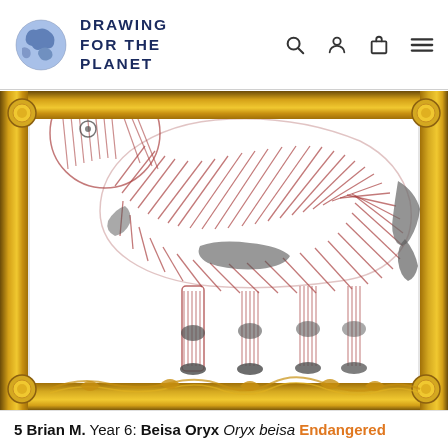DRAWING FOR THE PLANET
[Figure (illustration): A child's pencil and red crayon drawing of a Beisa Oryx animal, displayed inside an ornate gold picture frame. The drawing shows the body, legs, and tail of the oryx rendered in red and black strokes on white paper. The frame has elaborate gold decorative corners and border with classical ornamental motifs.]
5 Brian M. Year 6: Beisa Oryx Oryx beisa Endangered